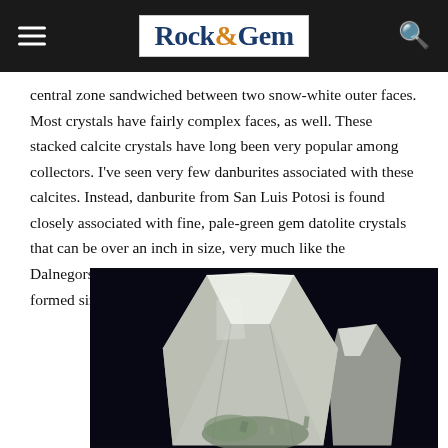Rock&Gem
central zone sandwiched between two snow-white outer faces. Most crystals have fairly complex faces, as well. These stacked calcite crystals have long been very popular among collectors. I've seen very few danburites associated with these calcites. Instead, danburite from San Luis Potosi is found closely associated with fine, pale-green gem datolite crystals that can be over an inch in size, very much like the Dalnegorsk specimens. These two species seem to have formed simultaneously.
[Figure (photo): A pale, translucent crystal specimen (likely danburite or datolite) photographed against a dark background, with smaller greenish mineral clusters visible at the base.]